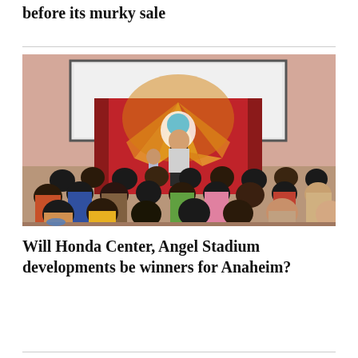before its murky sale
[Figure (photo): A performer or presenter stands on a stage in front of a colorful red banner with cartoon characters, while a large group of children sit on the floor watching the presentation in a school or community hall setting.]
Will Honda Center, Angel Stadium developments be winners for Anaheim?